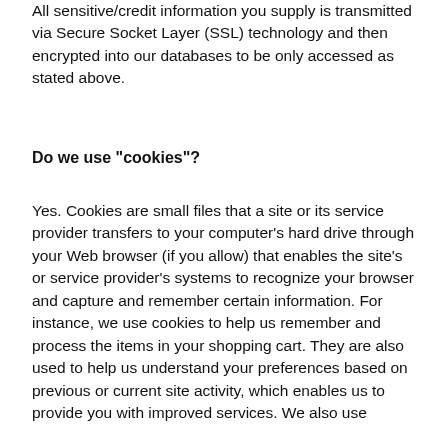All sensitive/credit information you supply is transmitted via Secure Socket Layer (SSL) technology and then encrypted into our databases to be only accessed as stated above.
Do we use "cookies"?
Yes. Cookies are small files that a site or its service provider transfers to your computer's hard drive through your Web browser (if you allow) that enables the site's or service provider's systems to recognize your browser and capture and remember certain information. For instance, we use cookies to help us remember and process the items in your shopping cart. They are also used to help us understand your preferences based on previous or current site activity, which enables us to provide you with improved services. We also use